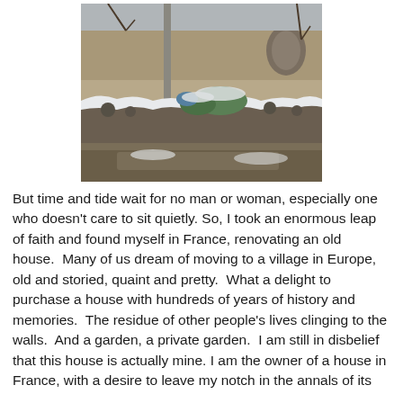[Figure (photo): A winter outdoor scene showing a snow-covered stone wall with objects (including green and blue containers) piled on top, in front of an old stone building. A metal pole is visible. The ground is partially muddy and snow-covered.]
But time and tide wait for no man or woman, especially one who doesn't care to sit quietly. So, I took an enormous leap of faith and found myself in France, renovating an old house.  Many of us dream of moving to a village in Europe, old and storied, quaint and pretty.  What a delight to purchase a house with hundreds of years of history and memories.  The residue of other people's lives clinging to the walls.  And a garden, a private garden.  I am still in disbelief that this house is actually mine. I am the owner of a house in France, with a desire to leave my notch in the annals of its